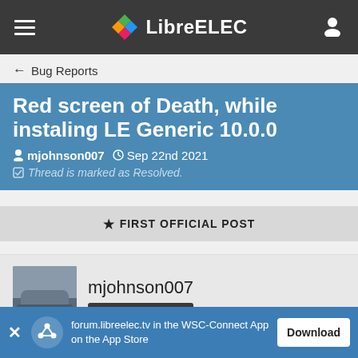LibreELEC
← Bug Reports
Red screen of Death, while instaling LE Generic 10.0.0
mjohnson007  Sep 22nd 2021
Thread is marked as Resolved.
★ FIRST OFFICIAL POST
mjohnson007
Beginner
Sep 22nd 2021
forum.libreelec.tv in the WSC-Connect App on the App Store